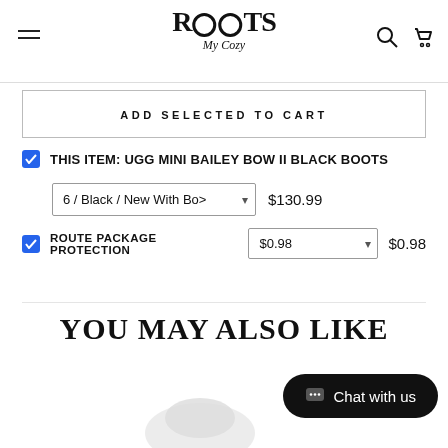Roots My Cozy - Navigation header with logo, hamburger menu, search and cart icons
ADD SELECTED TO CART
THIS ITEM: UGG MINI BAILEY BOW II BLACK BOOTS
6 / Black / New With Box  $130.99
ROUTE PACKAGE PROTECTION  $0.98  $0.98
YOU MAY ALSO LIKE
Chat with us